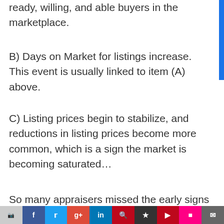ready, willing, and able buyers in the marketplace.
B) Days on Market for listings increase. This event is usually linked to item (A) above.
C) Listing prices begin to stabilize, and reductions in listing prices become more common, which is a sign the market is becoming saturated…
So many appraisers missed the early signs in the last boom's bust that resulted in claims (valid or not) of
Social sharing bar